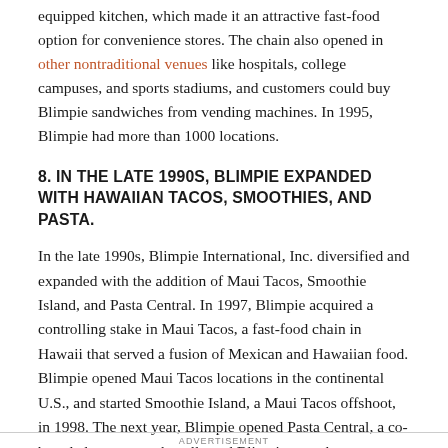equipped kitchen, which made it an attractive fast-food option for convenience stores. The chain also opened in other nontraditional venues like hospitals, college campuses, and sports stadiums, and customers could buy Blimpie sandwiches from vending machines. In 1995, Blimpie had more than 1000 locations.
8. IN THE LATE 1990S, BLIMPIE EXPANDED WITH HAWAIIAN TACOS, SMOOTHIES, AND PASTA.
In the late 1990s, Blimpie International, Inc. diversified and expanded with the addition of Maui Tacos, Smoothie Island, and Pasta Central. In 1997, Blimpie acquired a controlling stake in Maui Tacos, a fast-food chain in Hawaii that served a fusion of Mexican and Hawaiian food. Blimpie opened Maui Tacos locations in the continental U.S., and started Smoothie Island, a Maui Tacos offshoot, in 1998. The next year, Blimpie opened Pasta Central, a co-branded restaurant that allowed Blimpie to make money selling pasta and pizza for dinner.
ADVERTISEMENT